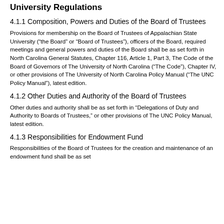University Regulations
4.1.1 Composition, Powers and Duties of the Board of Trustees
Provisions for membership on the Board of Trustees of Appalachian State University (“the Board” or “Board of Trustees”), officers of the Board, required meetings and general powers and duties of the Board shall be as set forth in North Carolina General Statutes, Chapter 116, Article 1, Part 3, The Code of the Board of Governors of The University of North Carolina (“The Code”), Chapter IV, or other provisions of The University of North Carolina Policy Manual (“The UNC Policy Manual”), latest edition.
4.1.2 Other Duties and Authority of the Board of Trustees
Other duties and authority shall be as set forth in “Delegations of Duty and Authority to Boards of Trustees,” or other provisions of The UNC Policy Manual, latest edition.
4.1.3 Responsibilities for Endowment Fund
Responsibilities of the Board of Trustees for the creation and maintenance of an endowment fund shall be as set